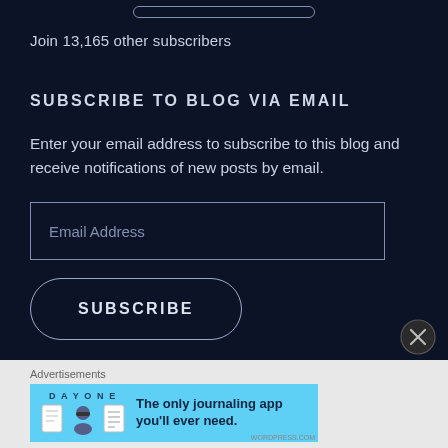Join 13,165 other subscribers
SUBSCRIBE TO BLOG VIA EMAIL
Enter your email address to subscribe to this blog and receive notifications of new posts by email.
[Figure (screenshot): Email Address input field (empty, dark themed with border)]
[Figure (screenshot): SUBSCRIBE button with rounded border outline]
Advertisements
[Figure (screenshot): Day One app advertisement banner with light blue background showing app icons and tagline: The only journaling app you'll ever need.]